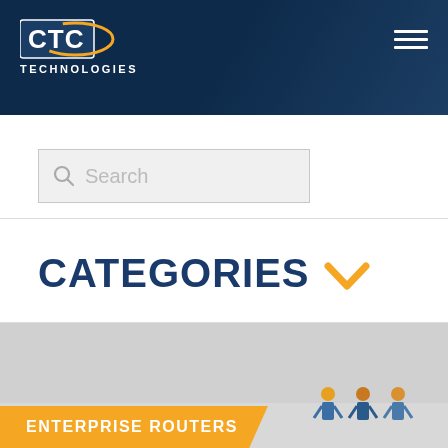CTC Technologies
Search
CATEGORIES
ENTERPRISE ROUTERS
[Figure (photo): Small figurines of business people at bottom right of product section]